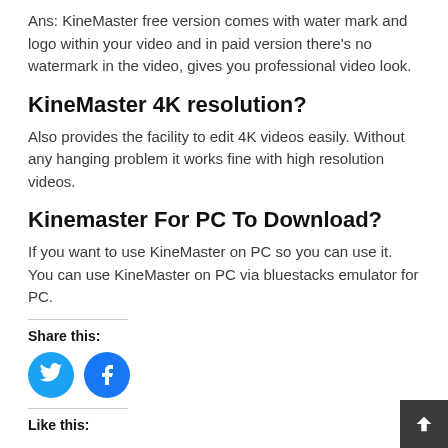Ans: KineMaster free version comes with water mark and logo within your video and in paid version there's no watermark in the video, gives you professional video look.
KineMaster 4K resolution?
Also provides the facility to edit 4K videos easily. Without any hanging problem it works fine with high resolution videos.
Kinemaster For PC To Download?
If you want to use KineMaster on PC so you can use it. You can use KineMaster on PC via bluestacks emulator for PC.
Share this:
[Figure (illustration): Twitter and Facebook share buttons as circular blue icons]
Like this: